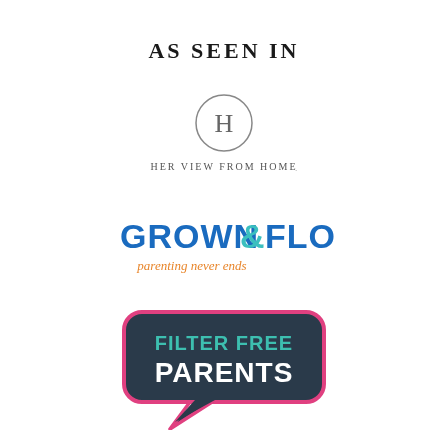AS SEEN IN
[Figure (logo): HerViewFromHome logo: circle with H letter inside, text 'HER VIEW FROM HOME' below in spaced serif caps]
[Figure (logo): Grown & Flown logo: bold blue text 'GROWN' with teal ampersand '&' and blue 'FLOWN', orange italic script 'parenting never ends' below]
[Figure (logo): Filter Free Parents logo: dark navy speech bubble with pink border, teal text 'FILTER FREE' and white bold 'PARENTS']